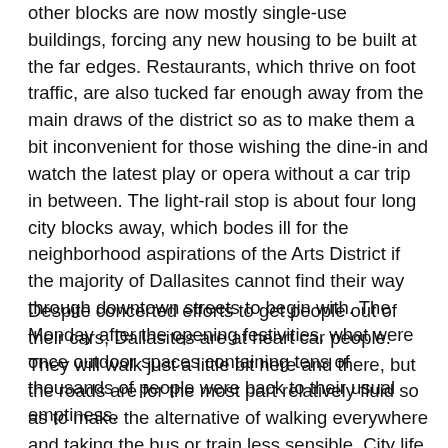other blocks are now mostly single-use buildings, forcing any new housing to be built at the far edges. Restaurants, which thrive on foot traffic, are also tucked far enough away from the main draws of the district so as to make them a bit inconvenient for those wishing the dine-in and watch the latest play or opera without a car trip in between. The light-rail stop is about four long city blocks away, which bodes ill for the neighborhood aspirations of the Arts District if the majority of Dallasites cannot find their way through downtown streets to begin with. The Monday after the opening festivities, what were once outdoor spaces containing tens of thousands of people were back to their usual emptiness.
Despite concerted efforts to get people out of their cars, Dallasites are at heart car people. They will walk just a little bit here and there, but the roads are for the most part relatively fluid so as to make the alternative of walking everywhere and taking the bus or train less sensible. City life will emerge downtown, and has already begun in various pockets, but it has an extremely long way to go before it achieves the ideals of a fully pedestrian-oriented city like